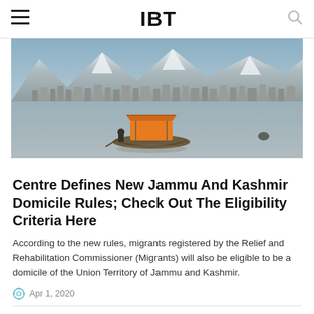IBT
[Figure (photo): A scenic photo of Dal Lake or similar Kashmiri lake with a shikara boat carrying an orange canopy in the foreground, and a snow-capped mountain range and city waterfront visible in the background under an overcast sky.]
Centre Defines New Jammu And Kashmir Domicile Rules; Check Out The Eligibility Criteria Here
According to the new rules, migrants registered by the Relief and Rehabilitation Commissioner (Migrants) will also be eligible to be a domicile of the Union Territory of Jammu and Kashmir.
Apr 1, 2020